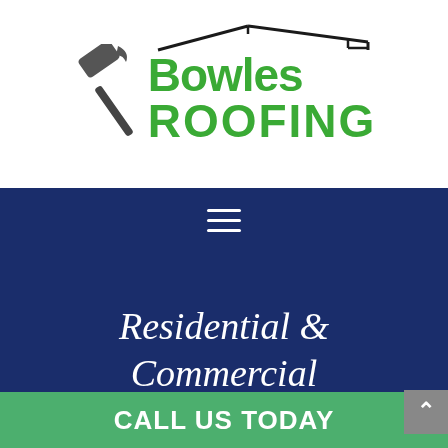[Figure (logo): Bowles Roofing logo with green text, hammer graphic, and roof outline silhouette]
≡
Residential & Commercial
Shingle Roofer The Villages
CALL US TODAY